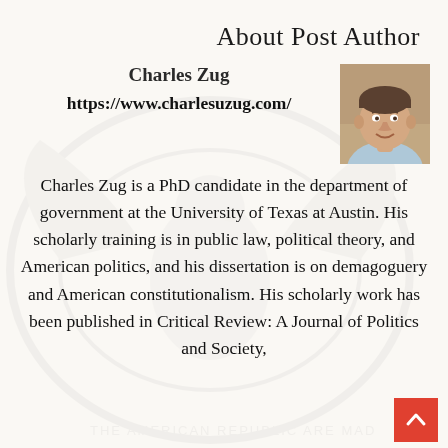About Post Author
Charles Zug
https://www.charlesuzug.com/
[Figure (photo): Headshot photo of Charles Zug, a young man in a light blue shirt, smiling, with a blurred background.]
Charles Zug is a PhD candidate in the department of government at the University of Texas at Austin. His scholarly training is in public law, political theory, and American politics, and his dissertation is on demagoguery and American constitutionalism. His scholarly work has been published in Critical Review: A Journal of Politics and Society,